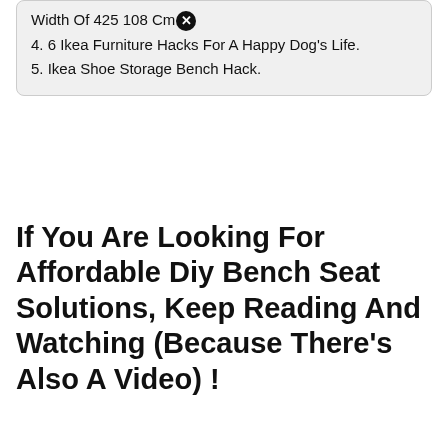Width Of 425 108 Cm [close icon]
4. 6 Ikea Furniture Hacks For A Happy Dog's Life.
5. Ikea Shoe Storage Bench Hack.
If You Are Looking For Affordable Diy Bench Seat Solutions, Keep Reading And Watching (Because There's Also A Video) !
An ikea hemnes media unit forms the basis of this pretty and stylish mudroom hack. Diy ikea window seat with storage. Custom shoe rack and bench.
Then We Painted A Wooden Board In An Eb[close]ny Colour And